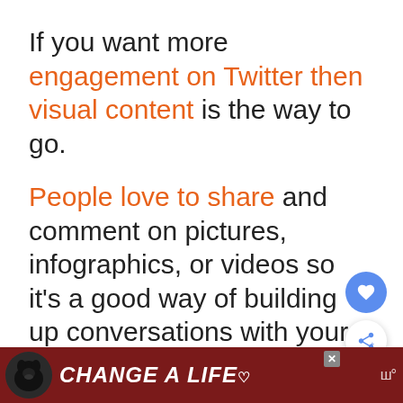If you want more engagement on Twitter then visual content is the way to go.
People love to share and comment on pictures, infographics, or videos so it's a good way of building up conversations with your target market.
Images are usually the main focus
[Figure (infographic): Advertisement banner at bottom showing a black Labrador dog, text 'CHANGE A LIFE' in white italic bold font on dark red/maroon background, with a close X button and a small logo on the right.]